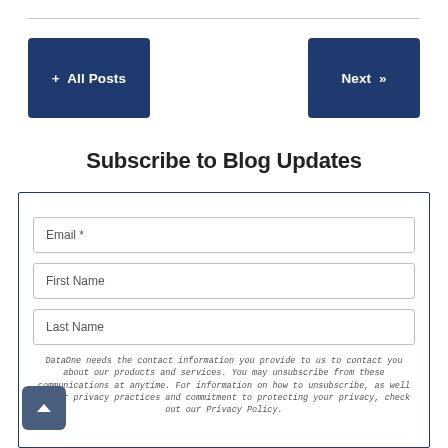+ All Posts
Next »
Subscribe to Blog Updates
Email *
First Name
Last Name
DataOne needs the contact information you provide to us to contact you about our products and services. You may unsubscribe from these communications at anytime. For information on how to unsubscribe, as well as our privacy practices and commitment to protecting your privacy, check out our Privacy Policy.